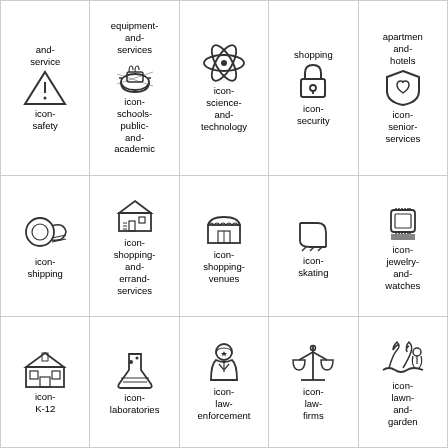[Figure (illustration): Grid of icons with labels: and-service (warning triangle), equipment-and-services (cooking pot), shopping (atom), shopping (padlock), apartment-and-hotels (shield with heart). Second row: icon-safety, icon-schools-public-and-academic, icon-science-and-technology, icon-security, icon-senior-services. Third row: icon-shipping (circular stamp), icon-shopping-and-errand-services (school building), icon-shopping-venues (market stall), icon-skating (ice skate), icon-jewelry-and-watches (digital watch). Fourth row: icon-K-12 (house/building), icon-laboratories (flask), icon-law-enforcement (police officer), icon-law-firms (scales), icon-lawn-and-garden (landscape).]